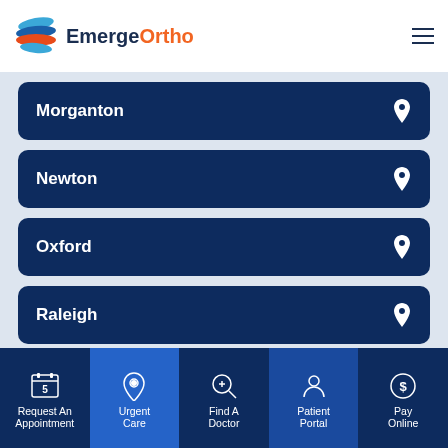[Figure (logo): EmergeOrtho logo with blue/orange wave shield icon and text]
Morganton
Newton
Oxford
Raleigh
Roxboro
Shallotte
[Figure (screenshot): Bottom navigation bar with 5 items: Request An Appointment, Urgent Care (active blue), Find A Doctor, Patient Portal (active dark blue), Pay Online]